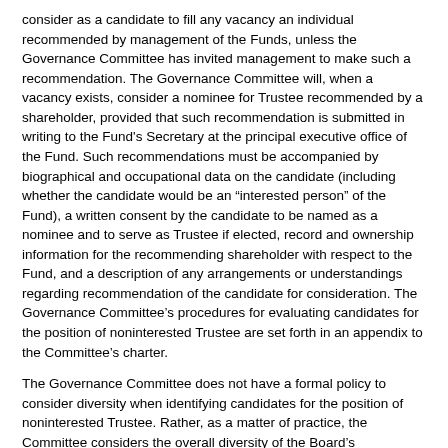consider as a candidate to fill any vacancy an individual recommended by management of the Funds, unless the Governance Committee has invited management to make such a recommendation. The Governance Committee will, when a vacancy exists, consider a nominee for Trustee recommended by a shareholder, provided that such recommendation is submitted in writing to the Fund's Secretary at the principal executive office of the Fund. Such recommendations must be accompanied by biographical and occupational data on the candidate (including whether the candidate would be an “interested person” of the Fund), a written consent by the candidate to be named as a nominee and to serve as Trustee if elected, record and ownership information for the recommending shareholder with respect to the Fund, and a description of any arrangements or understandings regarding recommendation of the candidate for consideration. The Governance Committee’s procedures for evaluating candidates for the position of noninterested Trustee are set forth in an appendix to the Committee’s charter.
The Governance Committee does not have a formal policy to consider diversity when identifying candidates for the position of noninterested Trustee. Rather, as a matter of practice, the Committee considers the overall diversity of the Board’s composition when identifying candidates. Specifically, the Committee considers how a particular candidate could be expected to contribute to overall diversity in the backgrounds, skills and experiences of the Board’s members and thereby enhance the effectiveness of the Board. In addition, as part of its annual self-evaluation, the Board has an opportunity to consider the diversity of its members, including specifically whether the Board’s members have the right mix of characteristics, experiences and skills. The results of the self-evaluation are considered by the Governance Committee in its decision-making process with respect to candidates for the position of noninterested Trustee.